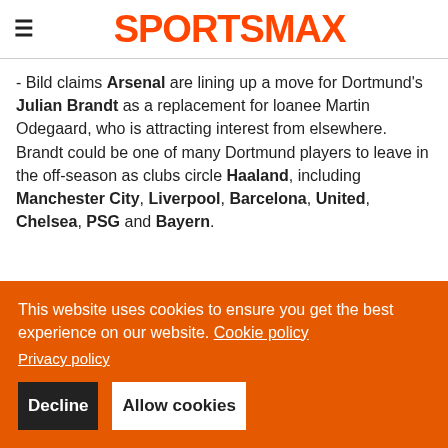SPORTSMAX
- Bild claims Arsenal are lining up a move for Dortmund's Julian Brandt as a replacement for loanee Martin Odegaard, who is attracting interest from elsewhere. Brandt could be one of many Dortmund players to leave in the off-season as clubs circle Haaland, including Manchester City, Liverpool, Barcelona, United, Chelsea, PSG and Bayern.
This website uses cookies to ensure you get the best experience on our website. Cookie policy Privacy policy
Decline
Allow cookies